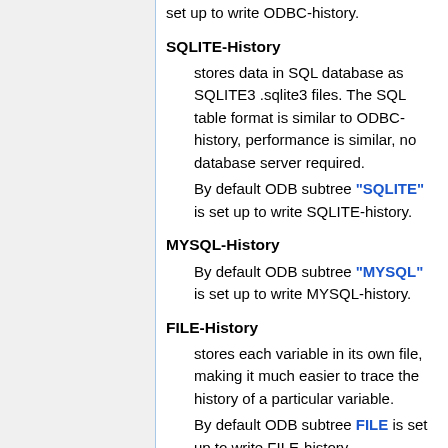set up to write ODBC-history.
SQLITE-History
stores data in SQL database as SQLITE3 .sqlite3 files. The SQL table format is similar to ODBC-history, performance is similar, no database server required.
By default ODB subtree "SQLITE" is set up to write SQLITE-history.
MYSQL-History
By default ODB subtree "MYSQL" is set up to write MYSQL-history.
FILE-History
stores each variable in its own file, making it much easier to trace the history of a particular variable.
By default ODB subtree FILE is set up to write FILE-history.